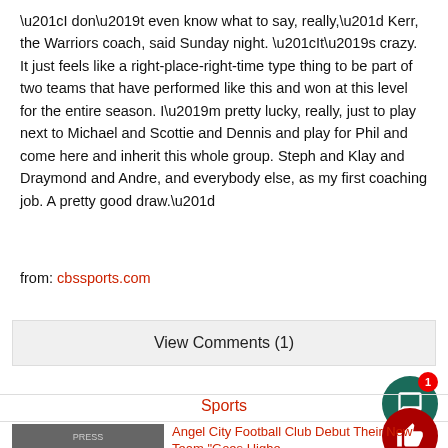“I don’t even know what to say, really,” Kerr, the Warriors coach, said Sunday night. “It’s crazy. It just feels like a right-place-right-time type thing to be part of two teams that have performed like this and won at this level for the entire season. I’m pretty lucky, really, just to play next to Michael and Scottie and Dennis and play for Phil and come here and inherit this whole group. Steph and Klay and Draymond and Andre, and everybody else, as my first coaching job. A pretty good draw.”
from: cbssports.com
View Comments (1)
Sports
Angel City Football Club Debut Their New Team “Goes Higher…